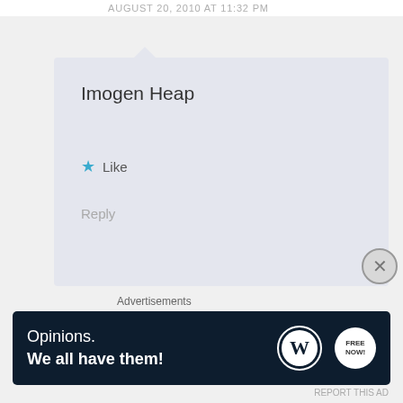AUGUST 20, 2010 AT 11:32 PM
Imogen Heap
★ Like
Reply
Hayley Masters
AUGUST 20, 2010 AT 11:33 PM
imogen heap wrote the song it's really pretty
★ Like
Advertisements
[Figure (infographic): WordPress advertisement banner: 'Opinions. We all have them!' with WordPress logo and brand icon on dark navy background]